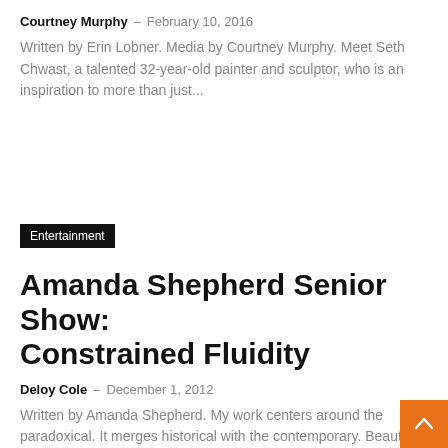Courtney Murphy · February 10, 2016
Written by Erin Lobner. Media by Courtney Murphy. Meet Seth Chwast, a talented 32-year-old painter and sculptor, who is an inspiration to more than just...
Entertainment
Amanda Shepherd Senior Show: Constrained Fluidity
Deloy Cole · December 1, 2012
Written by Amanda Shepherd. My work centers around the paradoxical. It merges historical with the contemporary. Beauty...